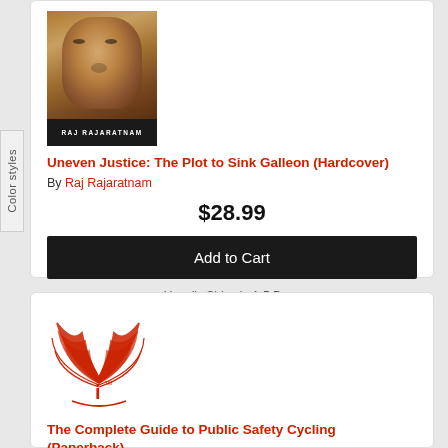[Figure (photo): Book cover of 'Uneven Justice: The Plot to Sink Galleon' by Raj Rajaratnam - shows a close-up of a man's face on a dark background with the author name at the bottom]
Uneven Justice: The Plot to Sink Galleon (Hardcover)
By Raj Rajaratnam
$28.99
Add to Cart
Usually Ships in 1-5 Days
[Figure (logo): Red stylized cycling logo featuring a winged figure on a bicycle with the letter 'i' and 'tm' mark]
The Complete Guide to Public Safety Cycling (Paperback)